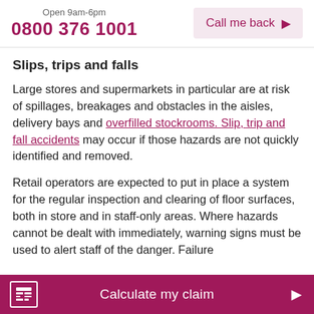Open 9am-6pm 0800 376 1001 | Call me back
Slips, trips and falls
Large stores and supermarkets in particular are at risk of spillages, breakages and obstacles in the aisles, delivery bays and overfilled stockrooms. Slip, trip and fall accidents may occur if those hazards are not quickly identified and removed.
Retail operators are expected to put in place a system for the regular inspection and clearing of floor surfaces, both in store and in staff-only areas. Where hazards cannot be dealt with immediately, warning signs must be used to alert staff of the danger. Failure
Calculate my claim